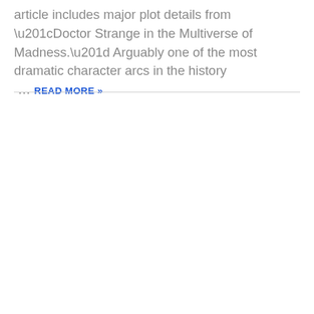article includes major plot details from “Doctor Strange in the Multiverse of Madness.” Arguably one of the most dramatic character arcs in the history … READ MORE »